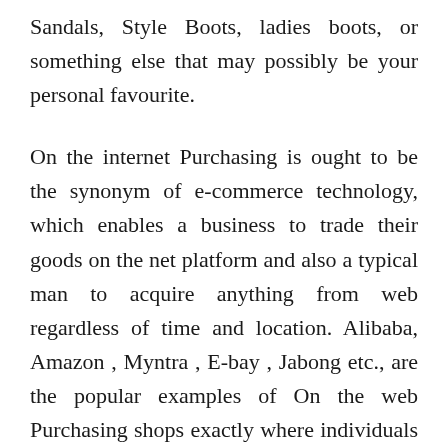Sandals, Style Boots, ladies boots, or something else that may possibly be your personal favourite.
On the internet Purchasing is ought to be the synonym of e-commerce technology, which enables a business to trade their goods on the net platform and also a typical man to acquire anything from web regardless of time and location. Alibaba, Amazon , Myntra , E-bay , Jabong etc., are the popular examples of On the web Purchasing shops exactly where individuals all